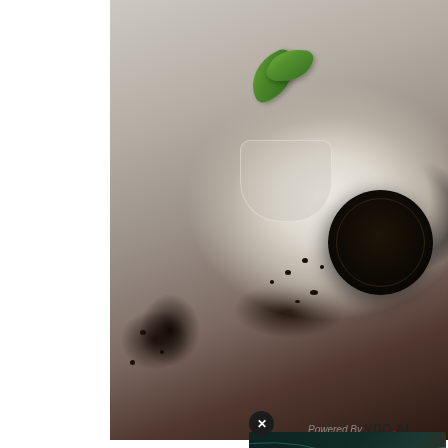[Figure (photo): Close-up photo of cookies and cream ice cream in a glass bowl topped with mint leaves, with an Oreo cookie beside it on a white surface with cookie crumbs]
Powered By VDO.AI
[Figure (screenshot): Video player overlay popup with close (X) button, dark teal-to-red gradient background with topographic line art. Shows text: 'No compatible source was found for this media.' Brand text: 'HEA X' in large white letters. Black bar at bottom.]
1. In a m... sugars a... mixer on... until the ... in the he...
From cu...
See o...